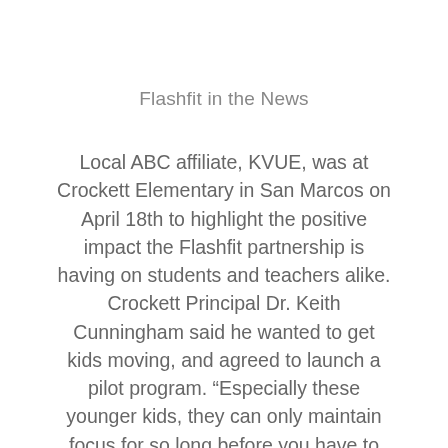Flashfit in the News
Local ABC affiliate, KVUE, was at Crockett Elementary in San Marcos on April 18th to highlight the positive impact the Flashfit partnership is having on students and teachers alike. Crockett Principal Dr. Keith Cunningham said he wanted to get kids moving, and agreed to launch a pilot program. “Especially these younger kids, they can only maintain focus for so long before you have to kind of shift what you’re doing, said